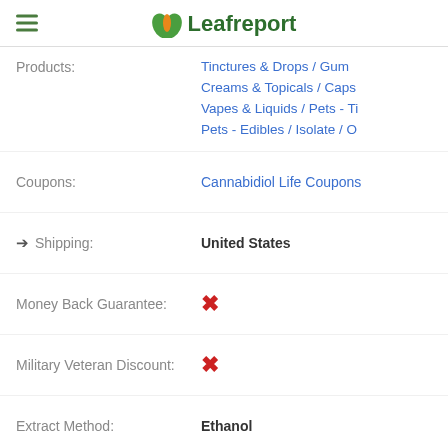Leafreport
| Field | Value |
| --- | --- |
| Products: | Tinctures & Drops / Gummies / Creams & Topicals / Capsules / Vapes & Liquids / Pets - Tinctures / Pets - Edibles / Isolate / Other |
| Coupons: | Cannabidiol Life Coupons |
| Shipping: | United States |
| Money Back Guarantee: | ✗ |
| Military Veteran Discount: | ✗ |
| Extract Method: | Ethanol |
| Hemp Source: | United States |